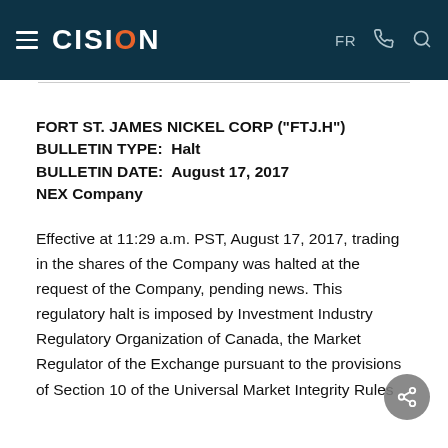CISION — FR
FORT ST. JAMES NICKEL CORP ("FTJ.H")
BULLETIN TYPE:  Halt
BULLETIN DATE:  August 17, 2017
NEX Company
Effective at 11:29 a.m. PST, August 17, 2017, trading in the shares of the Company was halted at the request of the Company, pending news. This regulatory halt is imposed by Investment Industry Regulatory Organization of Canada, the Market Regulator of the Exchange pursuant to the provisions of Section 10 of the Universal Market Integrity Rules